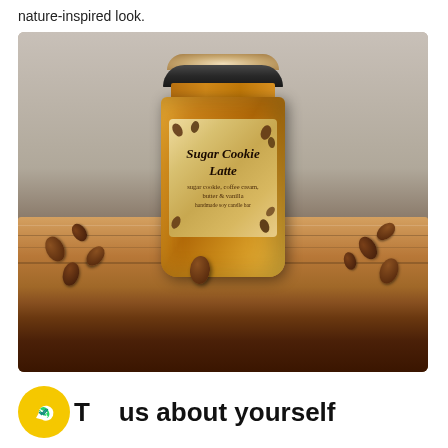nature-inspired look.
[Figure (photo): A Sugar Cookie Latte scented candle in an amber glass jar with a decorative floral lid, sitting on a wooden tray surrounded by scattered coffee beans, with a blurred rocky background.]
Tell us about yourself